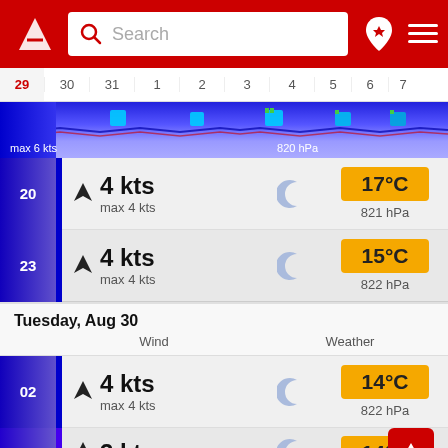[Figure (screenshot): App header with red background, logo, search bar, location pin icon, and hamburger menu]
[Figure (other): Date navigation strip showing dates 29 30 31 1 2 3 4 5 6 7]
[Figure (other): Wind/weather chart area with blue gradient and labels: max 6 kts, 820 hPa]
20  4 kts  max 4 kts  17°C  821 hPa
23  4 kts  max 4 kts  15°C  822 hPa
Tuesday, Aug 30
Wind  Weather
02  4 kts  max 4 kts  14°C  822 hPa
05  3 kts  14°C